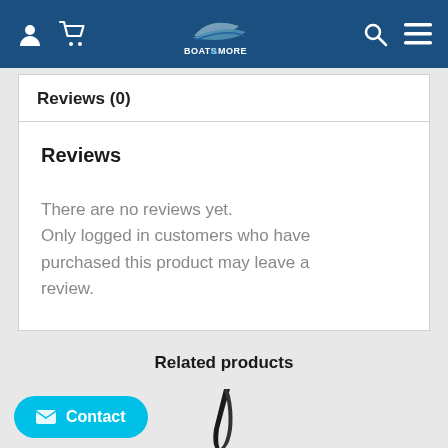Boats & More — navigation header with user, cart, search, menu icons and logo
Reviews (0)
Reviews
There are no reviews yet. Only logged in customers who have purchased this product may leave a review.
Related products
[Figure (photo): Partial view of a black curved product (likely a boat part) shown at bottom of page]
Contact